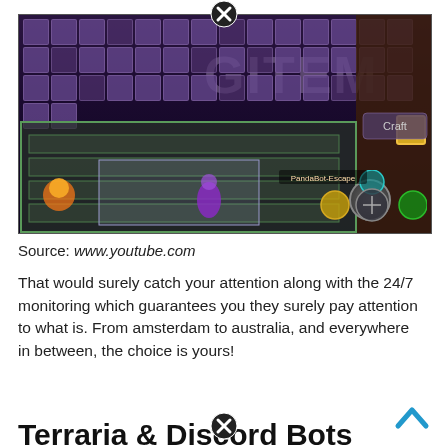[Figure (screenshot): A screenshot of a Terraria gameplay session showing an inventory/storage room with many item slots. The text 'GITEM' is visible in large grey letters in the upper right area of the screenshot. Various colored item slots are visible in a grid at the top. The game world shows a storage room with chests and platforms.]
Source: www.youtube.com
That would surely catch your attention along with the 24/7 monitoring which guarantees you they surely pay attention to what is. From amsterdam to australia, and everywhere in between, the choice is yours!
Terraria & Discord Bots